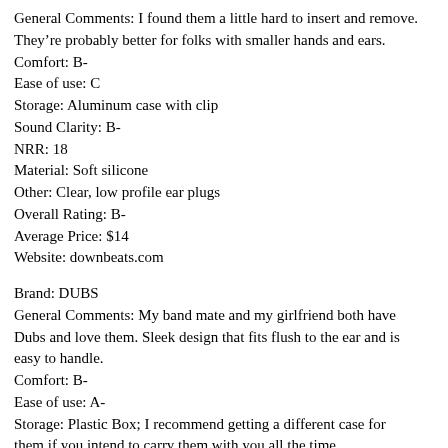General Comments: I found them a little hard to insert and remove. They're probably better for folks with smaller hands and ears.
Comfort: B-
Ease of use: C
Storage: Aluminum case with clip
Sound Clarity: B-
NRR: 18
Material: Soft silicone
Other: Clear, low profile ear plugs
Overall Rating: B-
Average Price: $14
Website: downbeats.com
Brand: DUBS
General Comments: My band mate and my girlfriend both have Dubs and love them. Sleek design that fits flush to the ear and is easy to handle.
Comfort: B-
Ease of use: A-
Storage: Plastic Box; I recommend getting a different case for them if you intend to carry them with you all the time.
Sound Clarity: A
NRR: 12dB
Material: ABS, polymer foams and silicone
Other: Available in four colors: Teal, Blue, Pink and White.